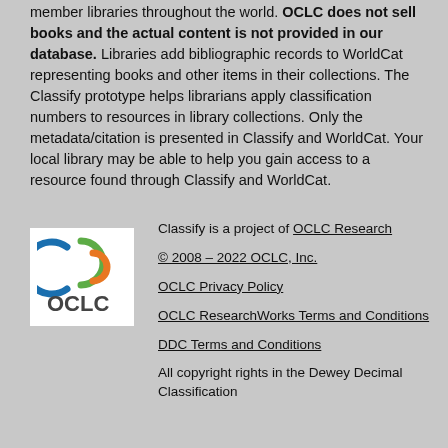member libraries throughout the world. OCLC does not sell books and the actual content is not provided in our database. Libraries add bibliographic records to WorldCat representing books and other items in their collections. The Classify prototype helps librarians apply classification numbers to resources in library collections. Only the metadata/citation is presented in Classify and WorldCat. Your local library may be able to help you gain access to a resource found through Classify and WorldCat.
[Figure (logo): OCLC logo — circular arcs in blue, green, and orange above the text OCLC in dark gray]
Classify is a project of OCLC Research
© 2008 – 2022 OCLC, Inc.
OCLC Privacy Policy
OCLC ResearchWorks Terms and Conditions
DDC Terms and Conditions
All copyright rights in the Dewey Decimal Classification